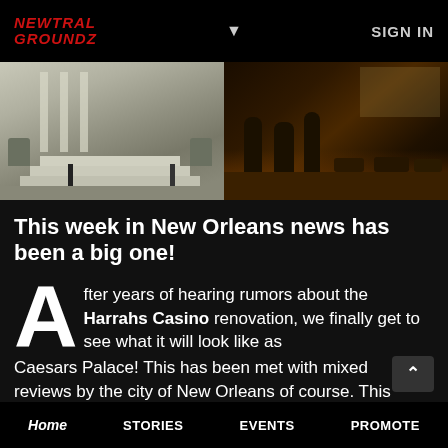NEWTRAL GROUNDZ  ▼  SIGN IN
[Figure (photo): Two side-by-side photos: left shows a building exterior with steps and planters in daylight; right shows a night scene with trees and parking lot lit by warm orange light.]
This week in New Orleans news has been a big one!
After years of hearing rumors about the Harrahs Casino renovation, we finally get to see what it will look like as Caesars Palace! This has been met with mixed reviews by the city of New Orleans of course. This
Home  STORIES  EVENTS  PROMOTE